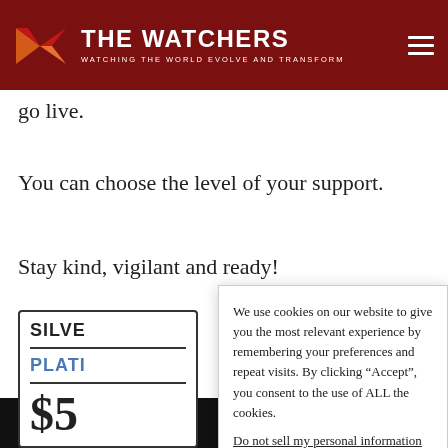THE WATCHERS — WATCHING THE WORLD EVOLVE AND TRANSFORM
go live.
You can choose the level of your support.
Stay kind, vigilant and ready!
SILVER
PLATINUM
$5
We use cookies on our website to give you the most relevant experience by remembering your preferences and repeat visits. By clicking “Accept”, you consent to the use of ALL the cookies.
Do not sell my personal information.
Cookie settings   Accept